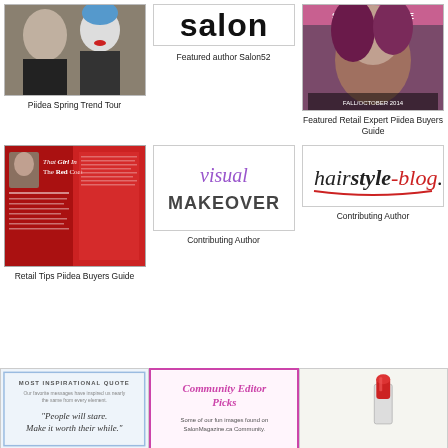[Figure (photo): Two women with stylish hair, one with blue-tipped pixie cut]
[Figure (photo): Salon52 logo/magazine text header]
Featured author Salon52
[Figure (photo): Magazine cover with woman with dark reddish hair]
Piidea Spring Trend Tour
Featured Retail Expert Piidea Buyers Guide
[Figure (photo): Magazine page - That Girl In The Red Coat article]
[Figure (logo): Visual Makeover logo in purple cursive and block letters]
Contributing Author
[Figure (logo): hairstyle-blog.com logo]
Contributing Author
Retail Tips Piidea Buyers Guide
[Figure (photo): Most Inspirational Quote card - People will stare. Make it worth their while.]
[Figure (photo): Community Editor Picks - Salon Magazine community picks]
[Figure (photo): Red lipstick/makeup image]